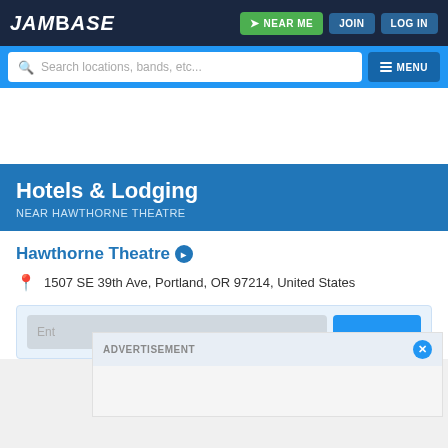JamBase | NEAR ME | JOIN | LOG IN
Search locations, bands, etc... MENU
Hotels & Lodging NEAR HAWTHORNE THEATRE
Hawthorne Theatre
1507 SE 39th Ave, Portland, OR 97214, United States
ADVERTISEMENT